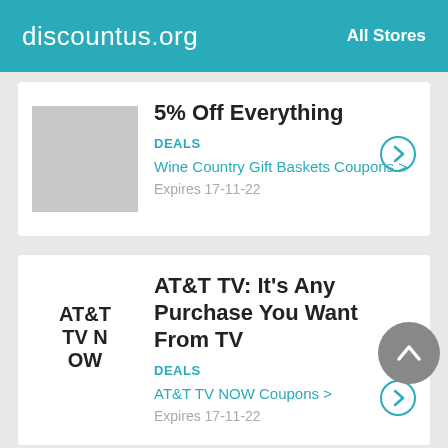discountus.org   All Stores
5% Off Everything
DEALS
Wine Country Gift Baskets Coupons >
Expires 17-11-22
AT&T TV: It's Any Purchase You Want From TV
DEALS
AT&T TV NOW Coupons >
Expires 17-11-22